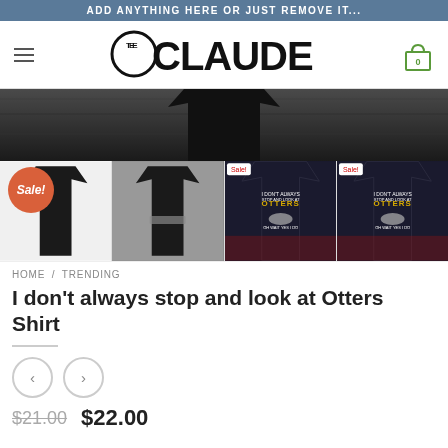ADD ANYTHING HERE OR JUST REMOVE IT...
[Figure (logo): TeeClaude brand logo with hamburger menu and shopping cart icon]
[Figure (photo): Main product image showing black t-shirt/sweatshirt on dark wooden background]
[Figure (photo): Four product thumbnail images with Sale! badge, showing I don't always stop and look at Otters shirt from multiple angles]
HOME / TRENDING
I don't always stop and look at Otters Shirt
[Figure (other): Previous/Next navigation arrow buttons]
$21.00  $22.00